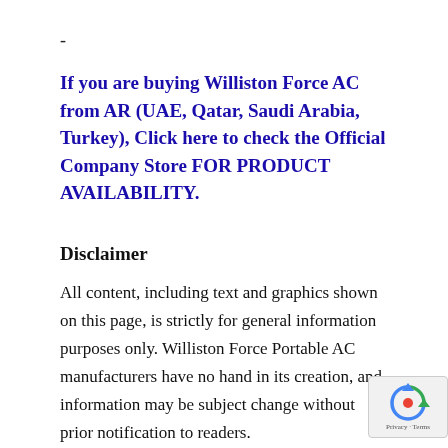-
If you are buying Williston Force AC from AR (UAE, Qatar, Saudi Arabia, Turkey), Click here to check the Official Company Store FOR PRODUCT AVAILABILITY.
Disclaimer
All content, including text and graphics shown on this page, is strictly for general information purposes only. Williston Force Portable AC manufacturers have no hand in its creation, and information may be subject change without prior notification to readers.